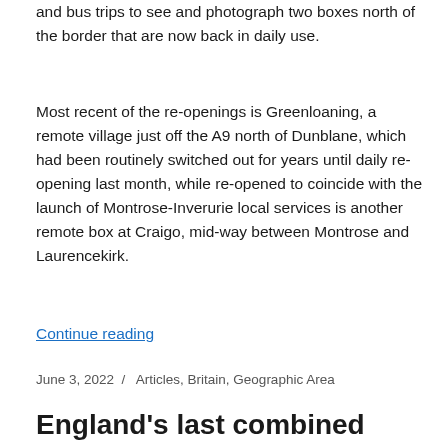and bus trips to see and photograph two boxes north of the border that are now back in daily use.
Most recent of the re-openings is Greenloaning, a remote village just off the A9 north of Dunblane, which had been routinely switched out for years until daily re-opening last month, while re-opened to coincide with the launch of Montrose-Inverurie local services is another remote box at Craigo, mid-way between Montrose and Laurencekirk.
Continue reading
June 3, 2022 / Articles, Britain, Geographic Area
England's last combined